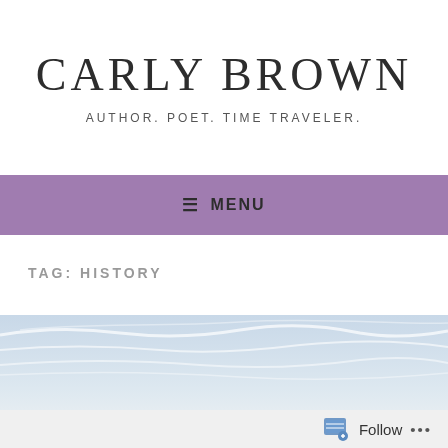CARLY BROWN
AUTHOR. POET. TIME TRAVELER.
≡ MENU
TAG: HISTORY
[Figure (photo): Panoramic sky photo with light blue sky, wispy clouds, and a flat horizon line at the bottom]
Follow ...